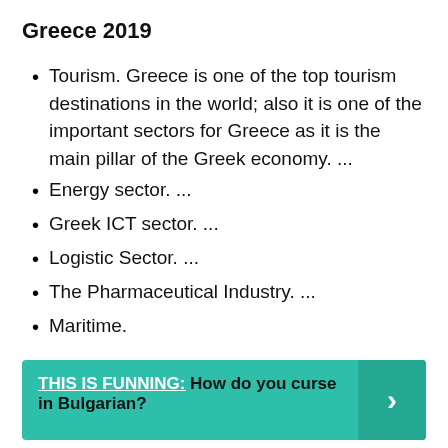Greece 2019
Tourism. Greece is one of the top tourism destinations in the world; also it is one of the important sectors for Greece as it is the main pillar of the Greek economy. ...
Energy sector. ...
Greek ICT sector. ...
Logistic Sector. ...
The Pharmaceutical Industry. ...
Maritime.
THIS IS FUNNING:  How do you curse in Bulgarian?
What are the working hours